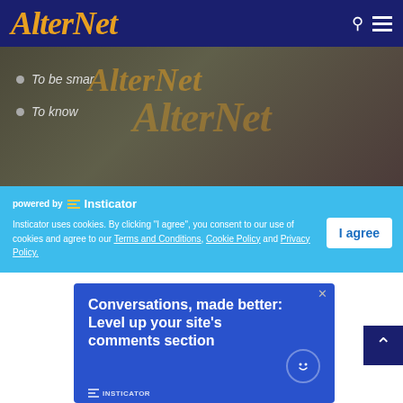AlterNet
[Figure (screenshot): Hero image area with voting/election imagery in background, AlterNet watermark overlay, and partial quiz text lines 'To be smar...' and 'To know']
powered by Insticator
Insticator uses cookies. By clicking "I agree", you consent to our use of cookies and agree to our Terms and Conditions, Cookie Policy and Privacy Policy.
[Figure (screenshot): Insticator advertisement banner: 'Conversations, made better: Level up your site's comments section' with INSTICATOR branding at bottom]